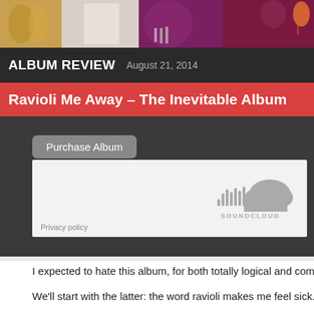[Figure (photo): Header photo strip showing people at what appears to be a party or event, partially cropped]
ALBUM REVIEW   August 21, 2014
Ravioli Me Away – The Inevitable Album
[Figure (screenshot): SoundCloud embedded audio player widget with Purchase Album button and Privacy policy link]
I expected to hate this album, for both totally logical and completely c
We'll start with the latter: the word ravioli makes me feel sick. It has d